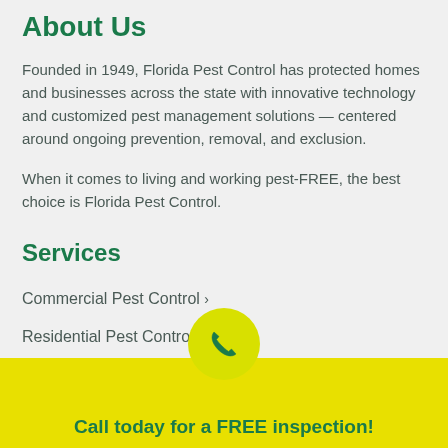About Us
Founded in 1949, Florida Pest Control has protected homes and businesses across the state with innovative technology and customized pest management solutions — centered around ongoing prevention, removal, and exclusion.
When it comes to living and working pest-FREE, the best choice is Florida Pest Control.
Services
Commercial Pest Control ›
Residential Pest Control ›
Pest Identification ›
Pest Control Coupons ›
Pest Control Careers ›
Call today for a FREE inspection!